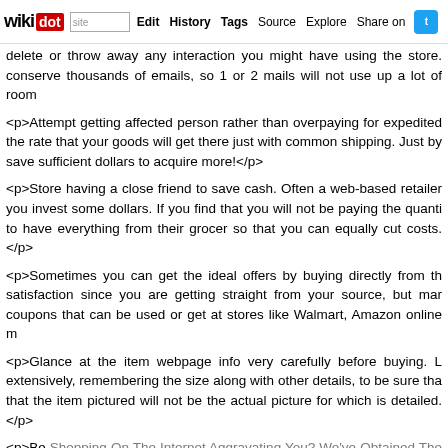wikidot | site Edit History Tags Source Explore Share on [Twitter]
delete or throw away any interaction you might have using the store. conserve thousands of emails, so 1 or 2 mails will not use up a lot of room
<p>Attempt getting affected person rather than overpaying for expedited the rate that your goods will get there just with common shipping. Just by save sufficient dollars to acquire more!</p>
<p>Store having a close friend to save cash. Often a web-based retailer you invest some dollars. If you find that you will not be paying the quanti to have everything from their grocer so that you can equally cut costs.</p>
<p>Sometimes you can get the ideal offers by buying directly from th satisfaction since you are getting straight from your source, but mar coupons that can be used or get at stores like Walmart, Amazon online m
<p>Glance at the item webpage info very carefully before buying. L extensively, remembering the size along with other details, to be sure tha that the item pictured will not be the actual picture for which is detailed.</p>
<p>Be Shopping On The Internet Aggravating You? We've Obtained The method you might be picking. Unless it really is a dire crisis and you r regular shipping and delivery is enough. There is no have to pay a goo when you will have your get in 4 to 5 times.</p>
<p>Prior to accomplishing a purchase, be sure that the site is safe. There Look for the letters &quot;https&quot; from the website address or search an unbroken crucial towards the bottom of your own screen. Don't worry website address immediately, sometimes it is only present in the check ou
<p>Don't &quot;discuss&quot; to anyone who you don't truly know on